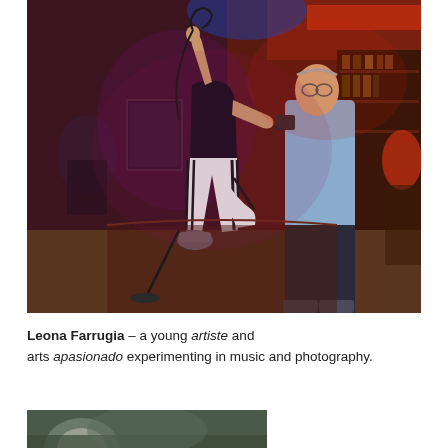[Figure (photo): Indoor concert/bar scene with a young woman performer in striped pants holding a microphone cable above her head, facing away from camera. An older man in a light blue shirt stands nearby. Red and purple lighting, dark atmospheric bar environment with shelves and decorations in background.]
Leona Farrugia – a young artiste and arts apasionado experimenting in music and photography.
[Figure (photo): Partial view of a second photograph, cropped at bottom of page. Shows a person with what appears to be a light-colored hat.]